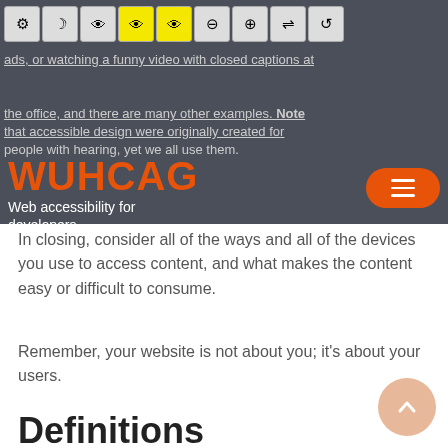[Figure (screenshot): WUHCAG website screenshot showing navigation toolbar with accessibility icons at top, WUHCAG logo and subtitle 'Web accessibility for developers', hamburger menu button, partial body text, and sections including Definitions and Accessibility headings with a scroll-to-top button]
WUHCAG
Web accessibility for developers
In closing, consider all of the ways and all of the devices you use to access content, and what makes the content easy or difficult to consume.
Remember, your website is not about you; it's about your users.
Definitions
Accessibility